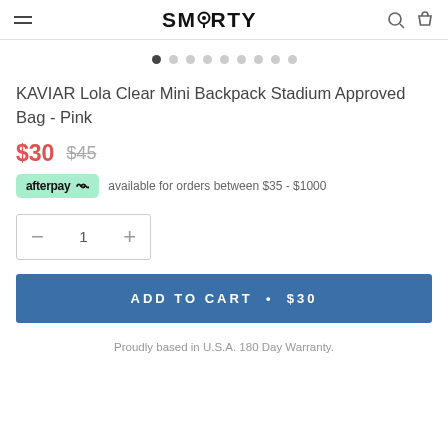SMARTY
[Figure (other): Carousel dot navigation with 9 dots, first dot active/filled]
KAVIAR Lola Clear Mini Backpack Stadium Approved Bag - Pink
$30  $45
afterpay  available for orders between $35 - $1000
[Figure (other): Quantity selector box with minus, 1, plus controls]
ADD TO CART • $30
Proudly based in U.S.A. 180 Day Warranty.